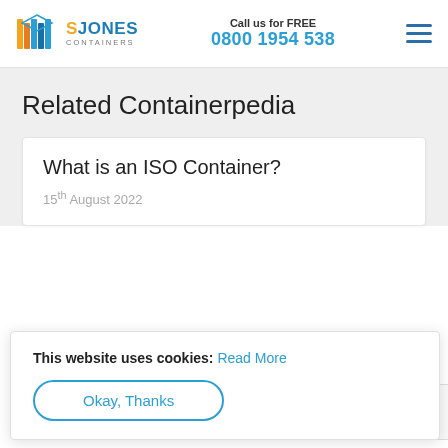S JONES CONTAINERS | Call us for FREE 0800 1954 538
Related Containerpedia
What is an ISO Container?
15th August 2022
This website uses cookies: Read More
Okay, Thanks